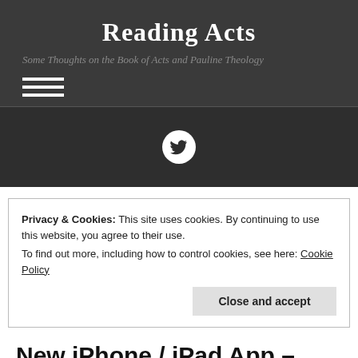Reading Acts
Some Thoughts on the Book of Acts and Pauline Theology
[Figure (other): Hamburger menu icon (three horizontal white lines)]
[Figure (other): Twitter bird icon in white circle on dark background]
Privacy & Cookies: This site uses cookies. By continuing to use this website, you agree to their use.
To find out more, including how to control cookies, see here: Cookie Policy
Close and accept
New iPhone / iPad App – Think Christianly